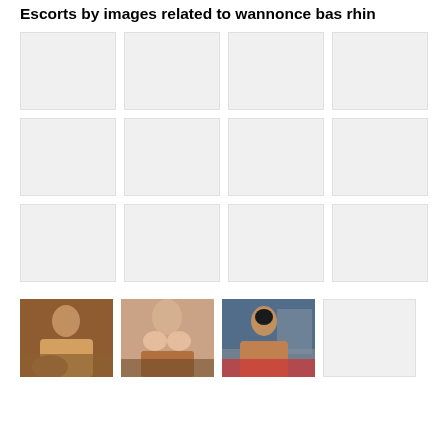Escorts by images related to wannonce bas rhin
[Figure (photo): Grid of 12 placeholder image cells (grey rectangles) arranged in 3 rows of 4]
[Figure (photo): Photo of a woman in black lingerie taking a mirror selfie]
[Figure (photo): Photo of a woman in pink lingerie outdoors]
[Figure (photo): Photo of a smiling woman sitting on a couch in swimwear]